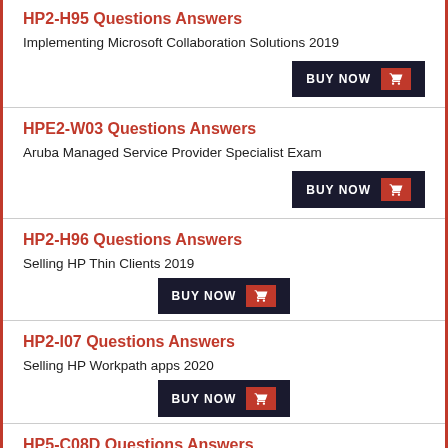HP2-H95 Questions Answers
Implementing Microsoft Collaboration Solutions 2019
HPE2-W03 Questions Answers
Aruba Managed Service Provider Specialist Exam
HP2-H96 Questions Answers
Selling HP Thin Clients 2019
HP2-I07 Questions Answers
Selling HP Workpath apps 2020
HP5-C08D Questions Answers
Selling HP Thin Clients 2019 delta